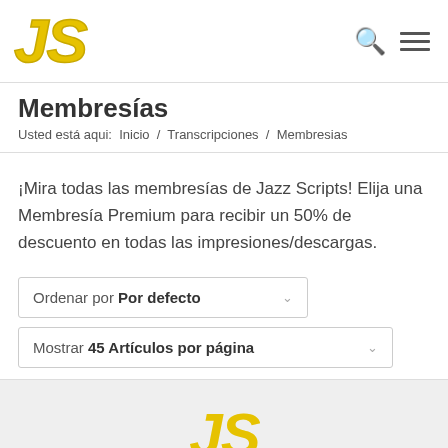[Figure (logo): JS logo in yellow italic bold font]
Membresías
Usted está aqui:  Inicio  /  Transcripciones  /  Membresias
¡Mira todas las membresías de Jazz Scripts! Elija una Membresía Premium para recibir un 50% de descuento en todas las impresiones/descargas.
Ordenar por Por defecto
Mostrar 45 Artículos por página
[Figure (logo): Partial JS logo in yellow at bottom of page]